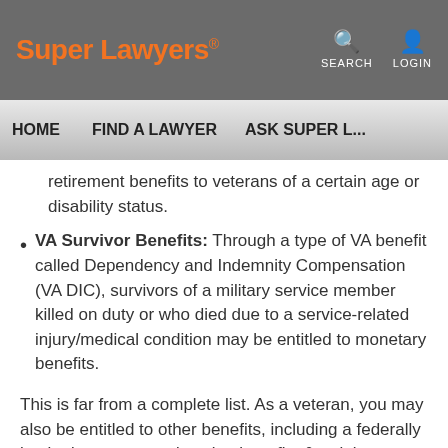Super Lawyers | SEARCH | LOGIN
HOME | FIND A LAWYER | ASK SUPER L...
retirement benefits to veterans of a certain age or disability status.
VA Survivor Benefits: Through a type of VA benefit called Dependency and Indemnity Compensation (VA DIC), survivors of a military service member killed on duty or who died due to a service-related injury/medical condition may be entitled to monetary benefits.
This is far from a complete list. As a veteran, you may also be entitled to other benefits, including a federally backed mortgage, education benefits & training benefits to cover college tuition, and more.
Locally...